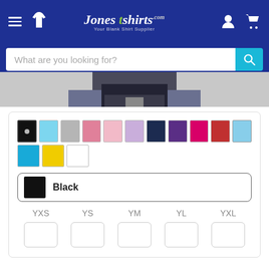Jones T-shirts - Your Blank Shirt Supplier
What are you looking for?
[Figure (photo): Partial view of a person wearing a black t-shirt and jeans, cropped at waist level]
[Figure (infographic): Color swatches: black (selected), light blue, gray, pink, light pink, lavender, navy, purple, hot pink, red, sky blue, blue, yellow, white]
Black
| YXS | YS | YM | YL | YXL |
| --- | --- | --- | --- | --- |
|  |  |  |  |  |